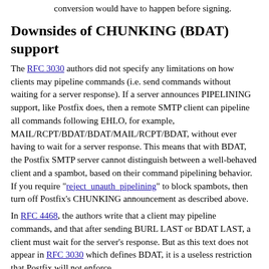conversion would have to happen before signing.
Downsides of CHUNKING (BDAT) support
The RFC 3030 authors did not specify any limitations on how clients may pipeline commands (i.e. send commands without waiting for a server response). If a server announces PIPELINING support, like Postfix does, then a remote SMTP client can pipeline all commands following EHLO, for example, MAIL/RCPT/BDAT/BDAT/MAIL/RCPT/BDAT, without ever having to wait for a server response. This means that with BDAT, the Postfix SMTP server cannot distinguish between a well-behaved client and a spambot, based on their command pipelining behavior. If you require "reject_unauth_pipelining" to block spambots, then turn off Postfix's CHUNKING announcement as described above.
In RFC 4468, the authors write that a client may pipeline commands, and that after sending BURL LAST or BDAT LAST, a client must wait for the server's response. But as this text does not appear in RFC 3030 which defines BDAT, it is a useless restriction that Postfix will not enforce.